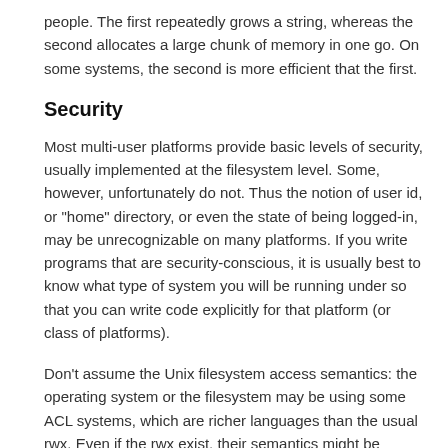people. The first repeatedly grows a string, whereas the second allocates a large chunk of memory in one go. On some systems, the second is more efficient that the first.
Security
Most multi-user platforms provide basic levels of security, usually implemented at the filesystem level. Some, however, unfortunately do not. Thus the notion of user id, or "home" directory, or even the state of being logged-in, may be unrecognizable on many platforms. If you write programs that are security-conscious, it is usually best to know what type of system you will be running under so that you can write code explicitly for that platform (or class of platforms).
Don't assume the Unix filesystem access semantics: the operating system or the filesystem may be using some ACL systems, which are richer languages than the usual rwx. Even if the rwx exist, their semantics might be different.